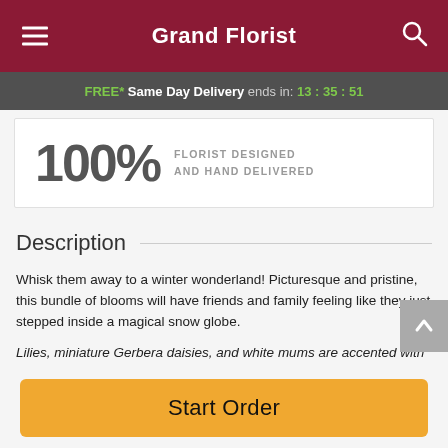Grand Florist
FREE* Same Day Delivery ends in: 13:35:51
100% FLORIST DESIGNED AND HAND DELIVERED
Description
Whisk them away to a winter wonderland! Picturesque and pristine, this bundle of blooms will have friends and family feeling like they just stepped inside a magical snow globe.
Lilies, miniature Gerbera daisies, and white mums are accented with silvery pinecones and winter greens.
Start Order